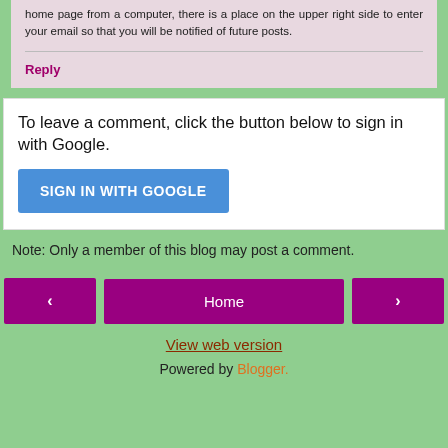home page from a computer, there is a place on the upper right side to enter your email so that you will be notified of future posts.
Reply
To leave a comment, click the button below to sign in with Google.
[Figure (other): SIGN IN WITH GOOGLE button (blue)]
Note: Only a member of this blog may post a comment.
[Figure (other): Navigation row with left arrow button, Home button, and right arrow button]
View web version
Powered by Blogger.